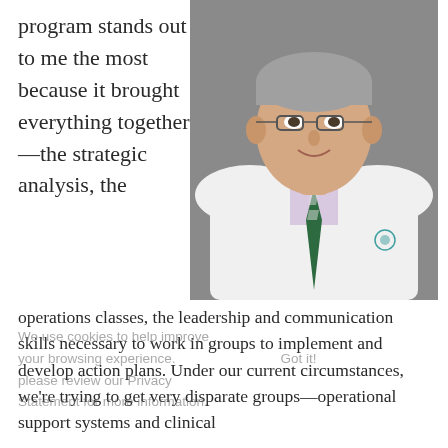program stands out to me the most because it brought everything together—the strategic analysis, the
[Figure (photo): Professional headshot of a male physician wearing a white lab coat and green/purple striped tie, smiling, with gray hair and glasses, against a gray background]
operations classes, the leadership and communication skills necessary to work in groups to implement and develop action plans. Under our current circumstances, we're trying to get very disparate groups—operational support systems and clinical